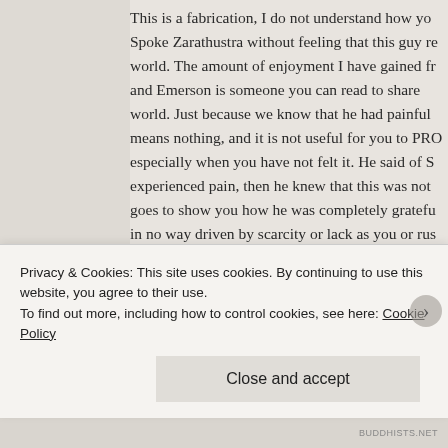This is a fabrication, I do not understand how yo... Spoke Zarathustra without feeling that this guy re... world. The amount of enjoyment I have gained fr... and Emerson is someone you can read to share ... world. Just because we know that he had painful ... means nothing, and it is not useful for you to PRO... especially when you have not felt it. He said of S... experienced pain, then he knew that this was not... goes to show you how he was completely gratefu... in no way driven by scarcity or lack as you or rus...
“It is not clear that war-mongering and absence o... humanity, even though our primitive instincts con... This, btw, is much further advanced than claimin...
Privacy & Cookies: This site uses cookies. By continuing to use this website, you agree to their use.
To find out more, including how to control cookies, see here: Cookie Policy
Close and accept
BUDDHISTS.NET